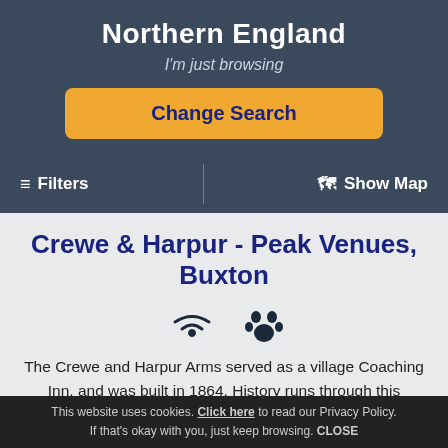Northern England
I'm just browsing
Change Search
☰ Filters   | 🗺 Show Map
Crewe & Harpur - Peak Venues, Buxton
The Crewe and Harpur Arms served as a village Coaching Inn, and was built in 1864. History runs through this traditional building.
Reviews: (3)
View →
This website uses cookies. Click here to read our Privacy Policy. If that's okay with you, just keep browsing. CLOSE